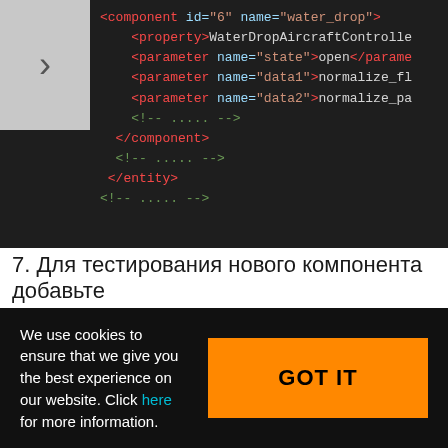[Figure (screenshot): Dark-themed code editor screenshot showing XML component definition with syntax highlighting. Shows <component id="6" name="water_drop">, <property>WaterDropAircraftControlle, <parameter name="state">open</parame, <parameter name="data1">normalize_fl, <parameter name="data2">normalize_pa, <!-- ..... -->, </component>, <!-- ..... -->, </entity>, <!-- ..... -->]
7. Для тестирования нового компонента добавьте
We use cookies to ensure that we give you the best experience on our website. Click here for more information.